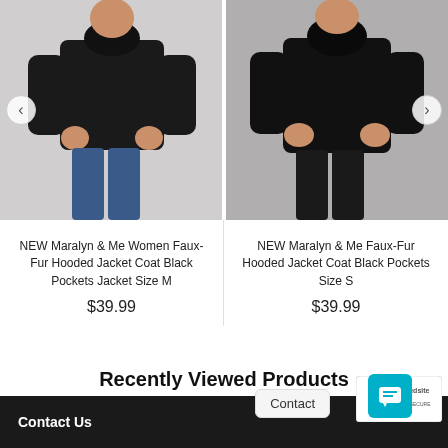[Figure (photo): Two product photos side by side: left shows a woman wearing a black faux-fur hooded jacket coat (Size M), right shows a woman wearing a black faux-fur hooded jacket coat (Size S). Navigation arrows visible on left and right edges.]
NEW Maralyn & Me Women Faux-Fur Hooded Jacket Coat Black Pockets Jacket Size M
$39.99
NEW Maralyn & Me Faux-Fur Hooded Jacket Coat Black Pockets Size S
$39.99
Recently Viewed Products
Contact
Contact Us